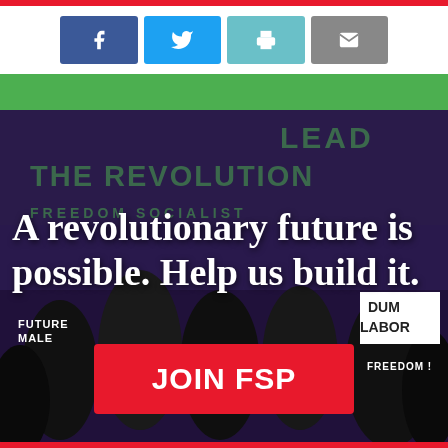[Figure (infographic): Social media sharing buttons: Facebook (blue), Twitter (light blue), Print (teal), Email (grey)]
[Figure (photo): Protest crowd with signs reading 'LEAD THE REVOLUTION', 'FREEDOM SOCIALIST' overlaid with bold white text: 'A revolutionary future is possible. Help us build it.' and a red JOIN FSP button]